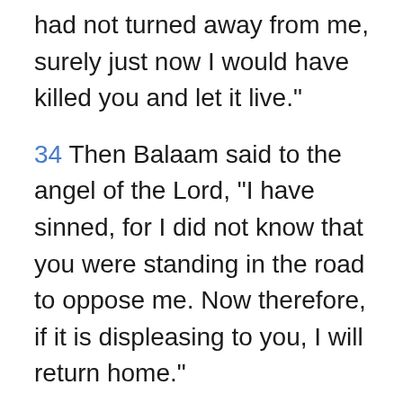had not turned away from me, surely just now I would have killed you and let it live."
34 Then Balaam said to the angel of the Lord, "I have sinned, for I did not know that you were standing in the road to oppose me. Now therefore, if it is displeasing to you, I will return home."
35 The angel of the Lord said to Balaam, "Go with the men; but speak only what I tell you to speak." So Balaam went on with the officials of Balak.
36 When Balak heard that Balaam had